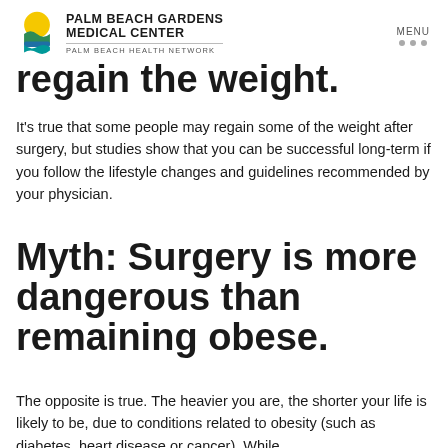PALM BEACH GARDENS MEDICAL CENTER | PALM BEACH HEALTH NETWORK | MENU
regain the weight.
It's true that some people may regain some of the weight after surgery, but studies show that you can be successful long-term if you follow the lifestyle changes and guidelines recommended by your physician.
Myth: Surgery is more dangerous than remaining obese.
The opposite is true. The heavier you are, the shorter your life is likely to be, due to conditions related to obesity (such as diabetes, heart disease or cancer). While